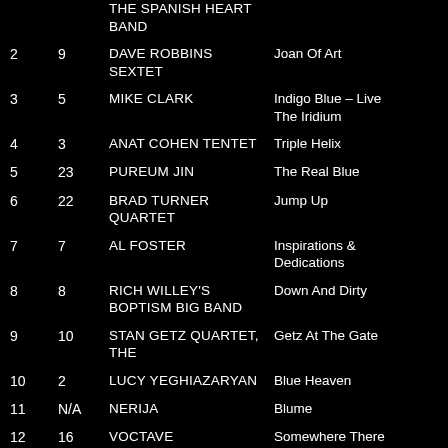| # | LW | ARTIST | ALBUM |
| --- | --- | --- | --- |
|  |  | THE SPANISH HEART BAND |  |
| 2 | 9 | DAVE ROBBINS SEXTET | Joan Of Art |
| 3 | 5 | MIKE CLARK | Indigo Blue – Live The Iridium |
| 4 | 3 | ANAT COHEN TENTET | Triple Helix |
| 5 | 23 | PUREUM JIN | The Real Blue |
| 6 | 22 | BRAD TURNER QUARTET | Jump Up |
| 7 | 7 | AL FOSTER | Inspirations & Dedications |
| 8 | 8 | RICH WILLEY'S BOPTISM BIG BAND | Down And Dirty |
| 9 | 10 | STAN GETZ QUARTET, THE | Getz At The Gate |
| 10 | 2 | LUCY YEGHIAZARYAN | Blue Heaven |
| 11 | N/A | NERIJA | Blume |
| 12 | 16 | VOCTAVE | Somewhere There |